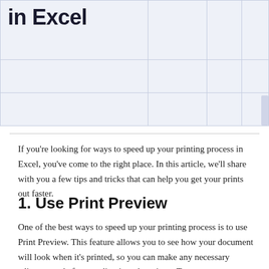[Figure (screenshot): Excel spreadsheet showing partial title text 'in Excel' in bold dark font within spreadsheet cells with light blue grid lines]
If you're looking for ways to speed up your printing process in Excel, you've come to the right place. In this article, we'll share with you a few tips and tricks that can help you get your prints out faster.
1. Use Print Preview
One of the best ways to speed up your printing process is to use Print Preview. This feature allows you to see how your document will look when it's printed, so you can make any necessary adjustments before sending it to the printer. To